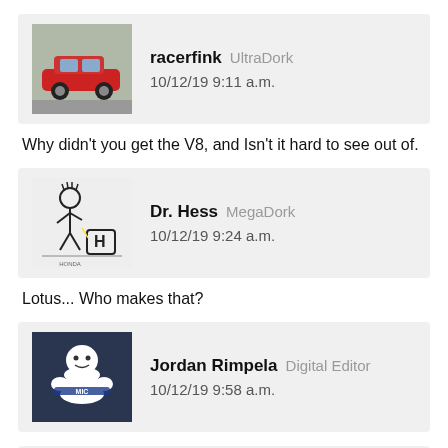[Figure (other): User avatar for racerfink showing a red sports car]
racerfink UltraDork 10/12/19 9:11 a.m.
Why didn’t you get the V8, and Isn’t it hard to see out of.
[Figure (other): User avatar for Dr. Hess showing Calvin peeing on Honda logo illustration]
Dr. Hess MegaDork 10/12/19 9:24 a.m.
Lotus... Who makes that?
[Figure (other): User avatar for Jordan Rimpela showing Michelin Man mascot]
Jordan Rimpela Digital Editor 10/12/19 9:58 a.m.